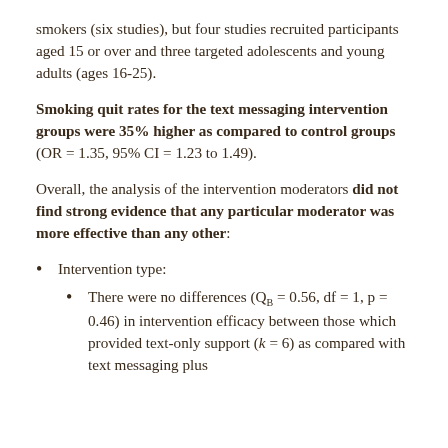smokers (six studies), but four studies recruited participants aged 15 or over and three targeted adolescents and young adults (ages 16-25).
Smoking quit rates for the text messaging intervention groups were 35% higher as compared to control groups (OR = 1.35, 95% CI = 1.23 to 1.49).
Overall, the analysis of the intervention moderators did not find strong evidence that any particular moderator was more effective than any other:
Intervention type:
There were no differences (Q_B = 0.56, df = 1, p = 0.46) in intervention efficacy between those which provided text-only support (k = 6) as compared with text messaging plus